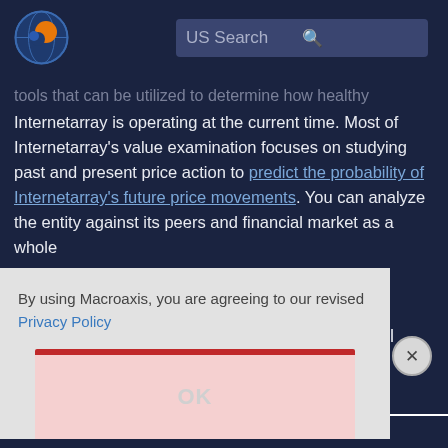[Figure (logo): Macroaxis globe logo — orange and blue circular icon]
US Search
tools that can be utilized to determine how healthy Internetarray is operating at the current time. Most of Internetarray's value examination focuses on studying past and present price action to predict the probability of Internetarray's future price movements. You can analyze the entity against its peers and financial market as a whole
By using Macroaxis, you are agreeing to our revised Privacy Policy
OK
© 2021 macroaxis.com | market correlation | financial synchronicity | correlation analysis